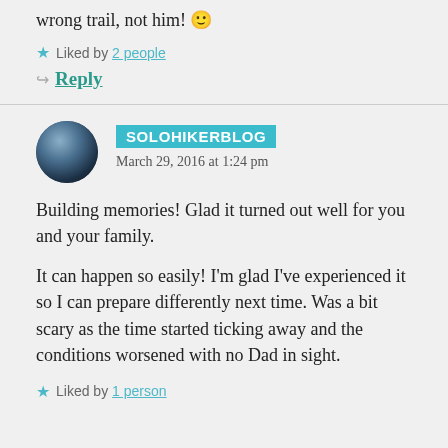wrong trail, not him! 🙂
Liked by 2 people
Reply
SOLOHIKERBLOG
March 29, 2016 at 1:24 pm
Building memories! Glad it turned out well for you and your family.
It can happen so easily! I'm glad I've experienced it so I can prepare differently next time. Was a bit scary as the time started ticking away and the conditions worsened with no Dad in sight.
Liked by 1 person